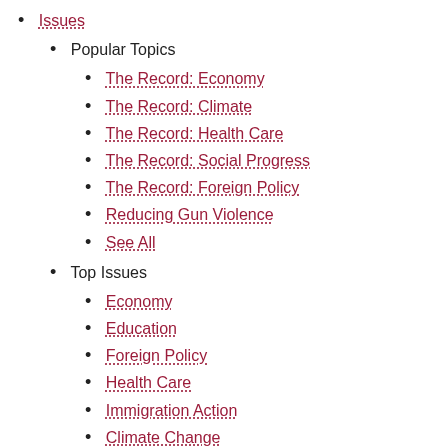Issues
Popular Topics
The Record: Economy
The Record: Climate
The Record: Health Care
The Record: Social Progress
The Record: Foreign Policy
Reducing Gun Violence
See All
Top Issues
Economy
Education
Foreign Policy
Health Care
Immigration Action
Climate Change
Energy and Environment